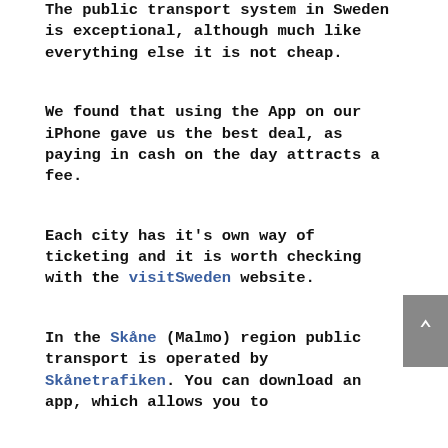The public transport system in Sweden is exceptional, although much like everything else it is not cheap.
We found that using the App on our iPhone gave us the best deal, as paying in cash on the day attracts a fee.
Each city has it's own way of ticketing and it is worth checking with the visitSweden website.
In the Skåne (Malmo) region public transport is operated by Skånetrafiken. You can download an app, which allows you to